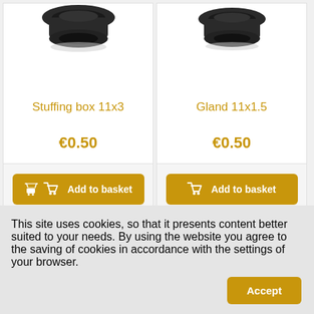[Figure (photo): Dark rubber stuffing box/gland component, partially cropped at top of left product card]
Stuffing box 11x3
€0.50
Add to basket
[Figure (photo): Dark rubber gland component, partially cropped at top of right product card]
Gland 11x1.5
€0.50
Add to basket
This site uses cookies, so that it presents content better suited to your needs. By using the website you agree to the saving of cookies in accordance with the settings of your browser.
Accept